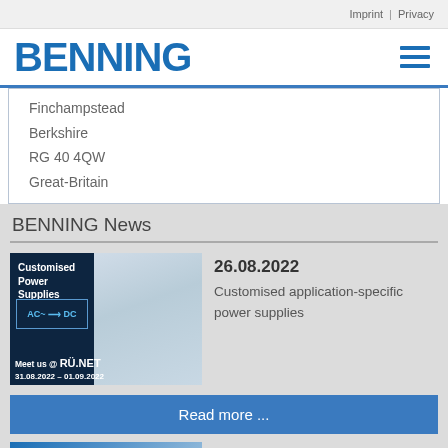Imprint | Privacy
[Figure (logo): BENNING logo in blue with hamburger menu icon]
Finchampstead
Berkshire
RG 40 4QW
Great-Britain
BENNING News
[Figure (photo): Customised Power Supplies - Meet us @ RÜ.NET 31.08.2022 - 01.09.2022]
26.08.2022
Customised application-specific power supplies
Read more ...
[Figure (photo): BENNING Next Battery Selector news thumbnail]
16.08.2022
Next Battery Selector